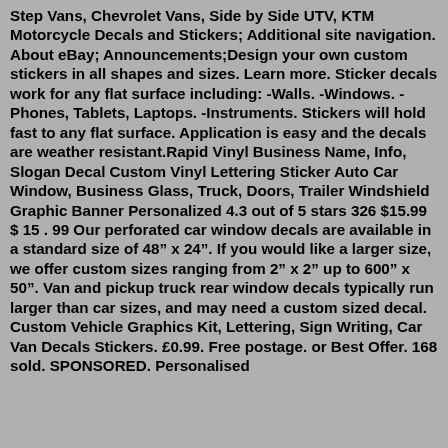Step Vans, Chevrolet Vans, Side by Side UTV, KTM Motorcycle Decals and Stickers; Additional site navigation. About eBay; Announcements;Design your own custom stickers in all shapes and sizes. Learn more. Sticker decals work for any flat surface including: -Walls. -Windows. -Phones, Tablets, Laptops. -Instruments. Stickers will hold fast to any flat surface. Application is easy and the decals are weather resistant.Rapid Vinyl Business Name, Info, Slogan Decal Custom Vinyl Lettering Sticker Auto Car Window, Business Glass, Truck, Doors, Trailer Windshield Graphic Banner Personalized 4.3 out of 5 stars 326 $15.99 $ 15 . 99 Our perforated car window decals are available in a standard size of 48” x 24”. If you would like a larger size, we offer custom sizes ranging from 2” x 2” up to 600” x 50”. Van and pickup truck rear window decals typically run larger than car sizes, and may need a custom sized decal. Custom Vehicle Graphics Kit, Lettering, Sign Writing, Car Van Decals Stickers. £0.99. Free postage. or Best Offer. 168 sold. SPONSORED. Personalised